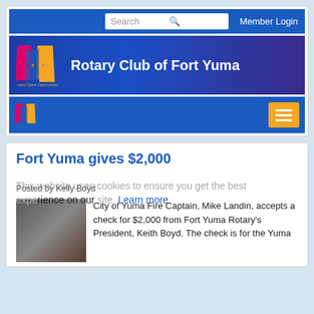[Figure (screenshot): Rotary Club of Fort Yuma website screenshot showing search bar with 'Search' input and 'Member Login' link, banner with Rotary logo and site title 'Rotary Club of Fort Yuma', navigation bar with small Rotary logo and hamburger menu button]
Fort Yuma gives $2,000
This website uses cookies to ensure you get the best experience on our site. Learn more
Posted by Kelly Boyd
City of Yuma Fire Captain, Mike Landin, accepts a check for $2,000 from Fort Yuma Rotary's President, Keith Boyd. The check is for the Yuma